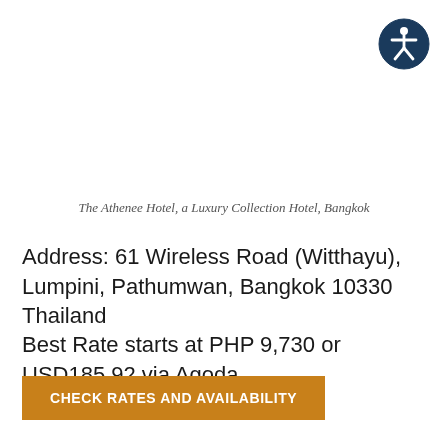[Figure (logo): Accessibility icon — white person symbol on dark navy blue circle]
The Athenee Hotel, a Luxury Collection Hotel, Bangkok
Address: 61 Wireless Road (Witthayu), Lumpini, Pathumwan, Bangkok 10330 Thailand
Best Rate starts at PHP 9,730 or USD185.92 via Agoda
CHECK RATES AND AVAILABILITY